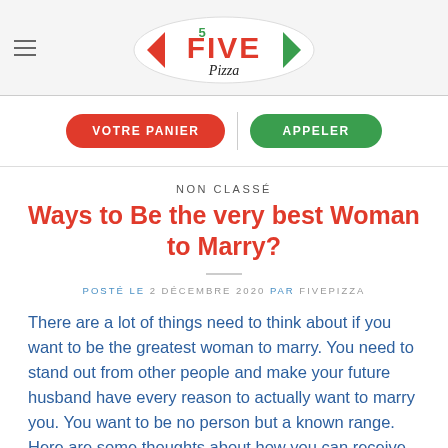[Figure (logo): Five Pizza logo — oval white shape with red and green chevron arrows on sides, red text 'FIVE' with green numeral 5, italic black 'Pizza' below]
VOTRE PANIER | APPELER
NON CLASSÉ
Ways to Be the very best Woman to Marry?
POSTÉ LE 2 DÉCEMBRE 2020 PAR FIVEPIZZA
There are a lot of things need to think about if you want to be the greatest woman to marry. You need to stand out from other people and make your future husband have every reason to actually want to marry you. You want to be no person but a known range. Here are some thoughts about how you can receive the best female to marry you and choose